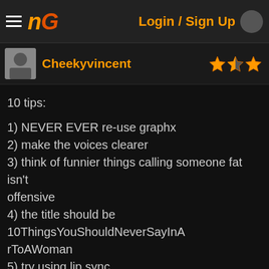Login / Sign Up
Cheekyvincent
10 tips:
1) NEVER EVER re-use graphx
2) make the voices clearer
3) think of funnier things calling someone fat isn't offensive
4) the title should be 10ThingsYouShouldNeverSayInArToAWoman
5) try using lip sync
6) start button and replay would be good
7) actions- woman slapping man/ woman stabbing man etc.
8) subtitles
9) woman could say something
10) other woman